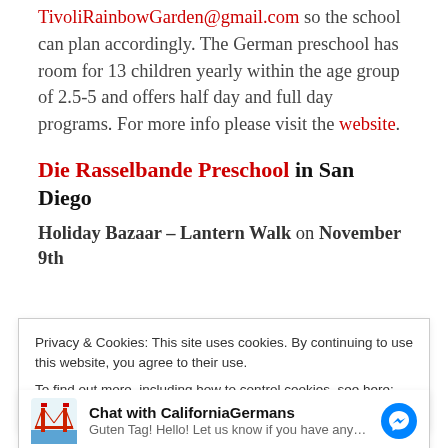TivoliRainbowGarden@gmail.com so the school can plan accordingly. The German preschool has room for 13 children yearly within the age group of 2.5-5 and offers half day and full day programs. For more info please visit the website.
Die Rasselbande Preschool in San Diego
Holiday Bazaar – Lantern Walk on November 9th
Privacy & Cookies: This site uses cookies. By continuing to use this website, you agree to their use.
To find out more, including how to control cookies, see here: Privacy –...
Chat with CaliforniaGermans
Guten Tag! Hello! Let us know if you have any...